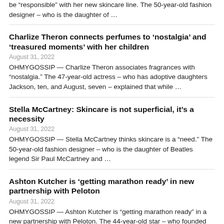be “responsible” with her new skincare line. The 50-year-old fashion designer – who is the daughter of …
Charlize Theron connects perfumes to ‘nostalgia’ and ‘treasured moments’ with her children
August 31, 2022
OHMYGOSSIP — Charlize Theron associates fragrances with “nostalgia.” The 47-year-old actress – who has adoptive daughters Jackson, ten, and August, seven – explained that while …
Stella McCartney: Skincare is not superficial, it’s a necessity
August 31, 2022
OHMYGOSSIP — Stella McCartney thinks skincare is a “need.” The 50-year-old fashion designer – who is the daughter of Beatles legend Sir Paul McCartney and …
Ashton Kutcher is ‘getting marathon ready’ in new partnership with Peloton
August 31, 2022
OHMYGOSSIP — Ashton Kutcher is “getting marathon ready” in a new partnership with Peloton. The 44-year-old star – who founded anti-human trafficking Thorn back in …
Dua Lipa to sing George Michael’s Freedom in new YSL Libre campaign